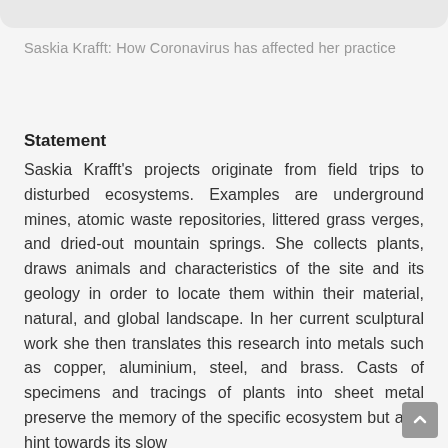Saskia Krafft: How Coronavirus has affected her practice
Statement
Saskia Krafft's projects originate from field trips to disturbed ecosystems. Examples are underground mines, atomic waste repositories, littered grass verges, and dried-out mountain springs. She collects plants, draws animals and characteristics of the site and its geology in order to locate them within their material, natural, and global landscape. In her current sculptural work she then translates this research into metals such as copper, aluminium, steel, and brass. Casts of specimens and tracings of plants into sheet metal preserve the memory of the specific ecosystem but also hint towards its slow